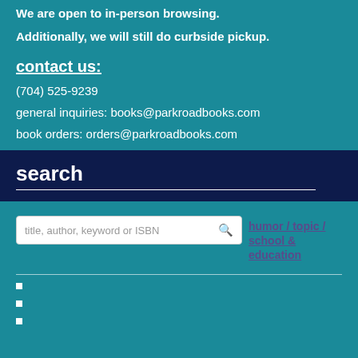We are open to in-person browsing.
Additionally, we will still do curbside pickup.
contact us:
(704) 525-9239
general inquiries: books@parkroadbooks.com
book orders: orders@parkroadbooks.com
search
title, author, keyword or ISBN
humor / topic / school & education